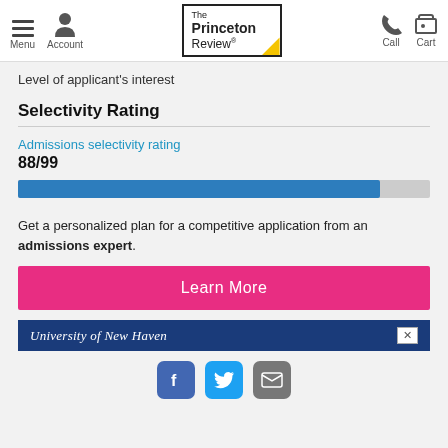Menu | Account | The Princeton Review | Call | Cart
Level of applicant's interest
Selectivity Rating
Admissions selectivity rating
88/99
[Figure (bar-chart): Admissions selectivity rating]
Get a personalized plan for a competitive application from an admissions expert.
Learn More
University of New Haven
Facebook | Twitter | Mail